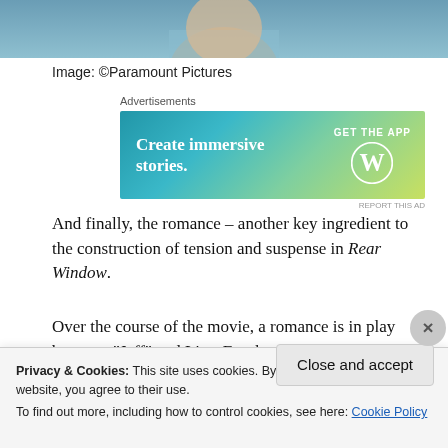[Figure (photo): Cropped bottom portion of a photo, appears to show a person in a light blue shirt]
Image: ©Paramount Pictures
[Figure (screenshot): WordPress advertisement banner: 'Create immersive stories. GET THE APP' with WordPress logo]
And finally, the romance – another key ingredient to the construction of tension and suspense in Rear Window.
Over the course of the movie, a romance is in play between “Jeff” and Lisa. For the majority of the film the
Privacy & Cookies: This site uses cookies. By continuing to use this website, you agree to their use.
To find out more, including how to control cookies, see here: Cookie Policy
Close and accept